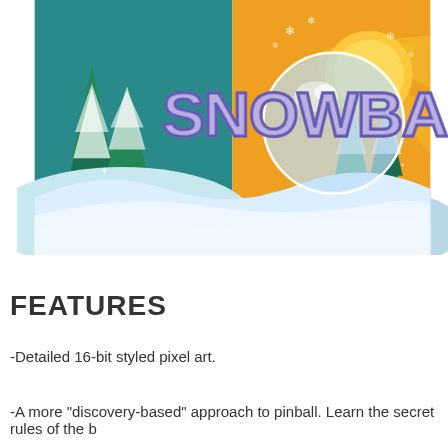[Figure (illustration): Snowball game promotional image showing a winter scene with snowy hills, pine trees covered in snow, and a large snowball in the center. The background has an orange sun with rays on the right side and blue/teal tones on the left. The word 'SNOWBA' (partially cropped) appears in large stylized purple and white brush-lettered text. Snowflakes and sparkles are scattered throughout.]
FEATURES
-Detailed 16-bit styled pixel art.
-A more "discovery-based" approach to pinball. Learn the secret rules of the b